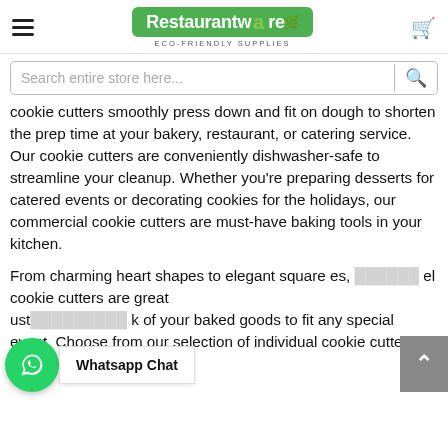Restaurantware ECO-FRIENDLY SUPPLIES
Search entire store here...
cookie cutters smoothly press down and fit on dough to shorten the prep time at your bakery, restaurant, or catering service. Our cookie cutters are conveniently dishwasher-safe to streamline your cleanup. Whether you're preparing desserts for catered events or decorating cookies for the holidays, our commercial cookie cutters are must-have baking tools in your kitchen.
From charming heart shapes to elegant square es, el cookie cutters are great ust k of your baked goods to fit any special event. Choose from our selection of individual cookie cutters or cookie cutter sets that
Whatsapp Chat